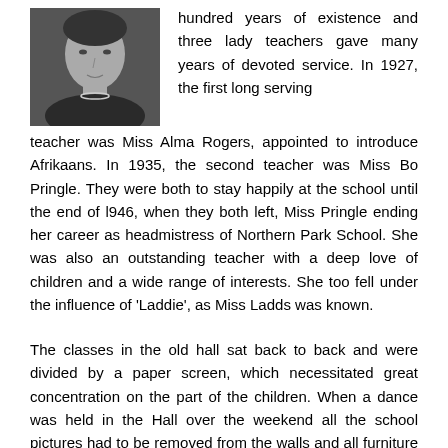[Figure (photo): Black and white portrait photograph of a woman wearing a pearl necklace and dark clothing]
hundred years of existence and three lady teachers gave many years of devoted service. In 1927, the first long serving teacher was Miss Alma Rogers, appointed to introduce Afrikaans. In 1935, the second teacher was Miss Bo Pringle. They were both to stay happily at the school until the end of l946, when they both left, Miss Pringle ending her career as headmistress of Northern Park School. She was also an outstanding teacher with a deep love of children and a wide range of interests. She too fell under the influence of 'Laddie', as Miss Ladds was known.
The classes in the old hall sat back to back and were divided by a paper screen, which necessitated great concentration on the part of the children. When a dance was held in the Hall over the weekend all the school pictures had to be removed from the walls and all furniture moved out. On a Monday morning, the blackboards and easels 'waltzed' over the floor